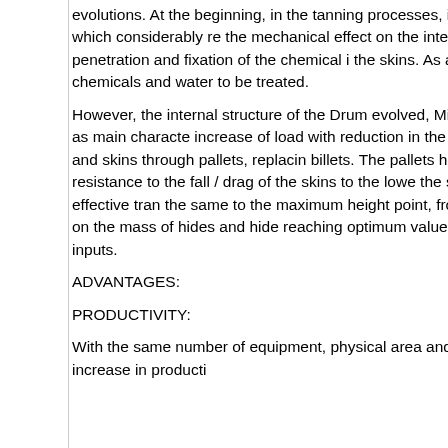evolutions. At the beginning, in the tanning processes, it was worked with large amounts of water, which considerably reduced the mechanical effect on the interior of the Drums and consequently, the penetration and fixation of the chemical in the skins. As a consequence there was greater consumption of chemicals and water to be treated.
However, the internal structure of the Drum evolved, Michel developed The Multiaction Drum, having as main characteristic increase of load with reduction in the percentage of bath. This system moves the hides and skins through pallets, replacing billets. The pallets have T-shaped edges, whose objective is greater resistance to the fall / drag of the skins to the lower the shaft during its rotation, providing a more effective transport the same to the maximum height point, from of which, they fall directly on the bath and also on the mass of hides and hides reaching optimum values of mechanical action and absorption of chemical inputs.
ADVANTAGES:
PRODUCTIVITY:
With the same number of equipment, physical area and even number of employees, we will have an increase in productivity.